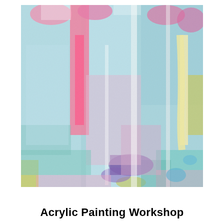[Figure (illustration): Abstract acrylic painting with colorful brushstrokes in pastel tones — light blue, pink, yellow, lavender, teal, white, and small accents of purple — applied thickly with visible texture across the canvas.]
Acrylic Painting Workshop